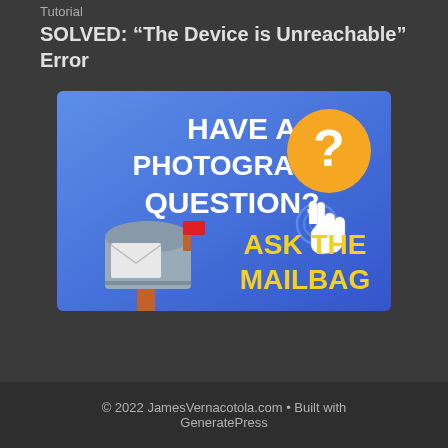Tutorial
SOLVED: “The Device is Unreachable” Error
[Figure (illustration): Promotional banner with blue gradient background. Text reads 'HAVE A PHOTOGRAPHY QUESTION?' in bold white, 'ASK THE MAILBAG' in bold yellow. Features a mailbox graphic, a hand cursor icon, and an orange circle with a question mark.]
© 2022 JamesVernacotola.com • Built with GeneratePress